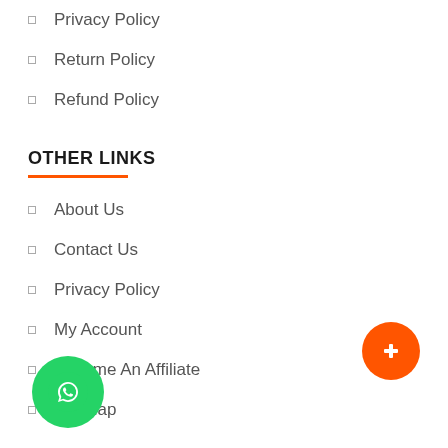Privacy Policy
Return Policy
Refund Policy
OTHER LINKS
About Us
Contact Us
Privacy Policy
My Account
Become An Affiliate
Sitemap